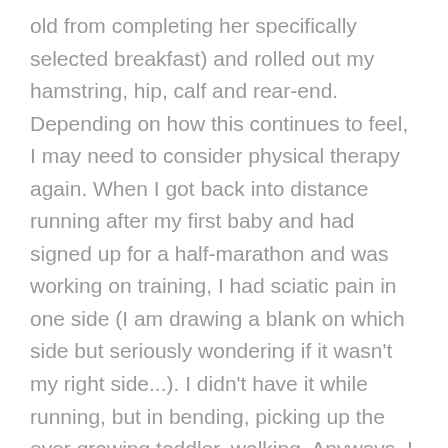old from completing her specifically selected breakfast) and rolled out my hamstring, hip, calf and rear-end. Depending on how this continues to feel, I may need to consider physical therapy again. When I got back into distance running after my first baby and had signed up for a half-marathon and was working on training, I had sciatic pain in one side (I am drawing a blank on which side but seriously wondering if it wasn't my right side...). I didn't have it while running, but in bending, picking up the ever growing toddler, walking. Anyways, I did got to a physical therapist who determined that, probably due to pregnancy, my hips were outta-whack and we worked on re-aligning them so that I wasn't compensating and strengthening them so that they were equal. And that meant lots of different exercises and using a resistance band and lots of